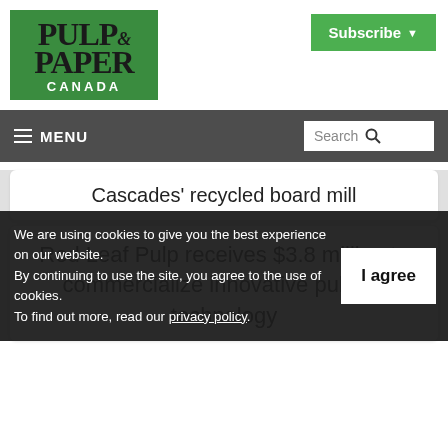[Figure (logo): Pulp & Paper Canada logo — green background with black serif text reading PULP & PAPER and white sans-serif CANADA]
Subscribe ▾
≡ MENU   Search 🔍
Cascades' recycled board mill
Red Leaf Pulp receives $3.8 million to commercialize innovative pulping technology
We are using cookies to give you the best experience on our website.
By continuing to use the site, you agree to the use of cookies.
To find out more, read our privacy policy.
I agree